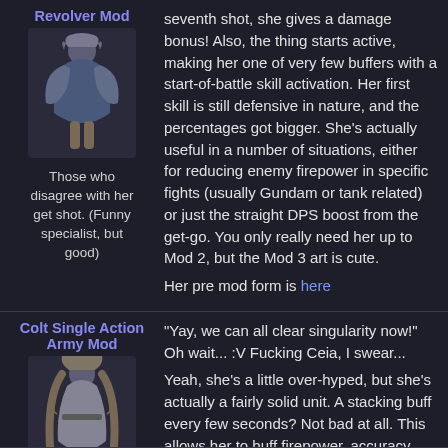Revolver Mod
[Figure (illustration): Anime character illustration for Revolver Mod]
Those who disagree with her get shot. (Funny specialist, but good)
seventh shot, she gives a damage bonus! Also, the thing starts active, making her one of very few buffers with a start-of-battle skill activation. Her first skill is still defensive in nature, and the percentages got bigger. She's actually useful in a number of situations, either for reducing enemy firepower in specific fights (usually Gundam or tank related) or just the straight DPS boost from the get-go. You only really need her up to Mod 2, but the Mod 3 art is cute.
Her pre mod form is here
Colt Single Action Army Mod
[Figure (illustration): Anime character illustration for Colt Single Action Army Mod]
You're pretty good! *fingergun*
"Yay, we can all clear singularity now!" Oh wait... :V Fucking Ceia, I swear...
Yeah, she's a little over-hyped, but she's actually a fairly solid unit. A stacking buff every few seconds? Not bad at all. This allows her to buff firepower, accuracy and rate of fire all at once. Her main issue is it takes a few seconds for her skills to REALLY kick in, but she's great for the longer fights that start creeping up here and there, and for things like backing up M4 in her railgun mode. Not super necessary compared to before now that we have lots of buffing HGs, but she's handy for things like